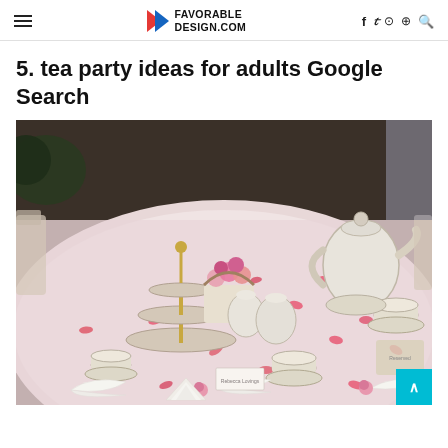FAVORABLE DESIGN.COM
5. tea party ideas for adults Google Search
[Figure (photo): A round table set for a tea party, covered with a pink/white cloth, featuring china tea cups and saucers with floral patterns, a three-tiered cake stand, a flower centerpiece with pink roses, scattered rose petals, a teapot, sugar bowls, place cards, decorative purse and shoe ornaments, and folded white napkins at each place setting.]